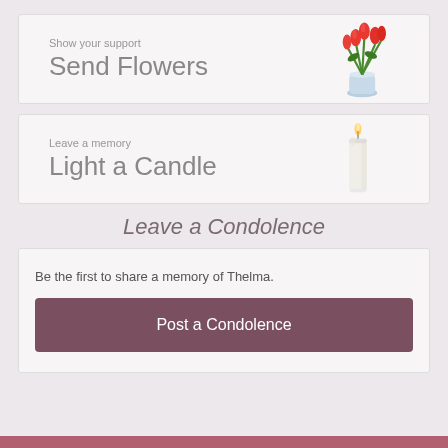[Figure (illustration): Banner with tulips in a vase and text 'Show your support / Send Flowers']
[Figure (illustration): Banner with a white candle and text 'Leave a memory / Light a Candle']
Leave a Condolence
Be the first to share a memory of Thelma.
Post a Condolence